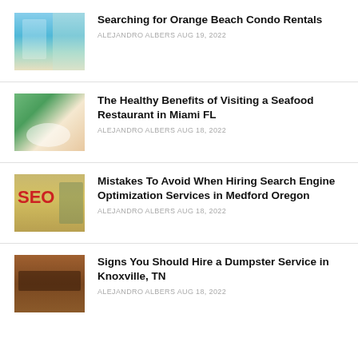[Figure (photo): Swimming pool area with blue water and surrounding buildings]
Searching for Orange Beach Condo Rentals
ALEJANDRO ALBERS AUG 19, 2022
[Figure (photo): Couple dining outdoors at a restaurant]
The Healthy Benefits of Visiting a Seafood Restaurant in Miami FL
ALEJANDRO ALBERS AUG 18, 2022
[Figure (photo): SEO globe with text and search engine keywords]
Mistakes To Avoid When Hiring Search Engine Optimization Services in Medford Oregon
ALEJANDRO ALBERS AUG 18, 2022
[Figure (photo): Dumpster container in brown/rust color]
Signs You Should Hire a Dumpster Service in Knoxville, TN
ALEJANDRO ALBERS AUG 18, 2022